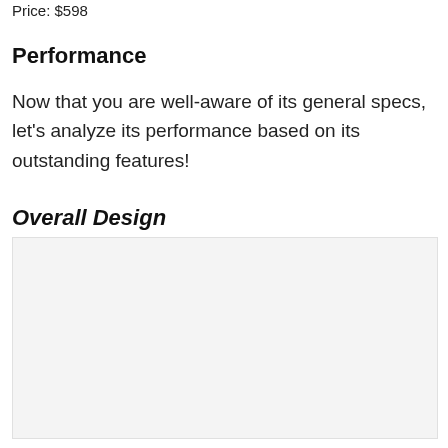Price: $598
Performance
Now that you are well-aware of its general specs, let's analyze its performance based on its outstanding features!
Overall Design
[Figure (photo): Image placeholder with light gray background representing the Overall Design section image]